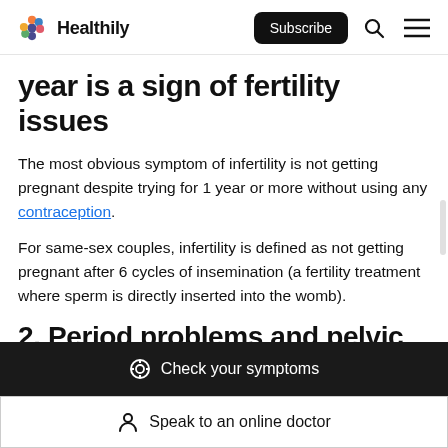Healthily — Subscribe, Search, Menu
year is a sign of fertility issues
The most obvious symptom of infertility is not getting pregnant despite trying for 1 year or more without using any contraception.
For same-sex couples, infertility is defined as not getting pregnant after 6 cycles of insemination (a fertility treatment where sperm is directly inserted into the womb).
2. Period problems and pelvic
Check your symptoms
Speak to an online doctor